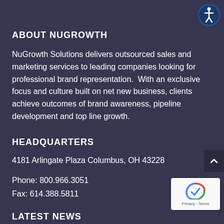[Figure (logo): Accessibility icon — circular blue badge with white person/accessibility symbol]
ABOUT NUGROWTH
NuGrowth Solutions delivers outsourced sales and marketing services to leading companies looking for professional brand representation.  With an exclusive focus and culture built on net new business, clients achieve outcomes of brand awareness, pipeline development and top line growth.
HEADQUARTERS
4181 Arlingate Plaza Columbus, OH 43228
Phone: 800.966.3051
Fax: 614.388.5811
LATEST NEWS
[Figure (logo): reCAPTCHA badge with privacy and terms text]